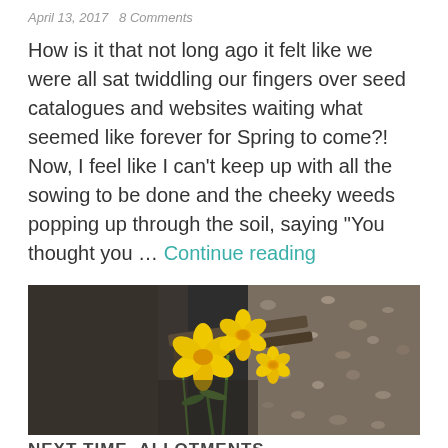April 13, 2017  8 Comments
How is it that not long ago it felt like we were all sat twiddling our fingers over seed catalogues and websites waiting what seemed like forever for Spring to come?! Now, I feel like I can't keep up with all the sowing to be done and the cheeky weeds popping up through the soil, saying "You thought you ... Continue reading
[Figure (photo): Photograph of yellow daffodil flowers growing in a garden bed with dark soil and gravel]
NEXT TIME, ALLOTMENTS